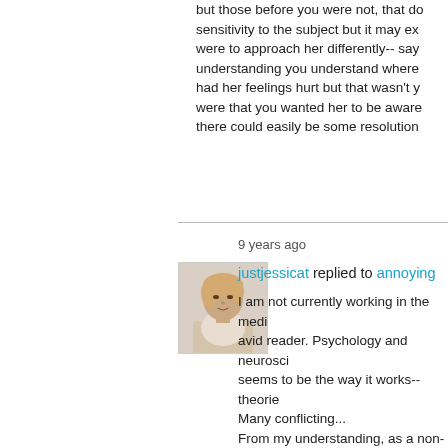but those before you were not, that does show a sensitivity to the subject but it may ex-- if you were to approach her differently-- say from an understanding you understand where she may have had her feelings hurt but that wasn't your intention, were that you wanted her to be aware and that there could easily be some resolution
9 years ago
justjessicat replied to annoying
[Figure (photo): Avatar photo of a woman with light hair, facing slightly sideways]
I am not currently working in the medi-- I am an avid reader. Psychology and neuroscience. It seems to be the way it works-- theories... Many conflicting... From my understanding, as a non-doc-- would be in degrees and depending on-- range from 'normal' where it wouldn't-- when it does it falls on the Axis II- whi-- PERSONALITY DISORDER by the D-- Manual) the guidelines used to catego-- are on update #4. With that being said, there are a varie-- the most common disorders that occu-- high misdiagnosis rate according to m-- cognitive behavioral therapy and DBT-- be treated individually as there isn't m-- fall within the boundaries of each clas-- medication, and specifically for OCD-